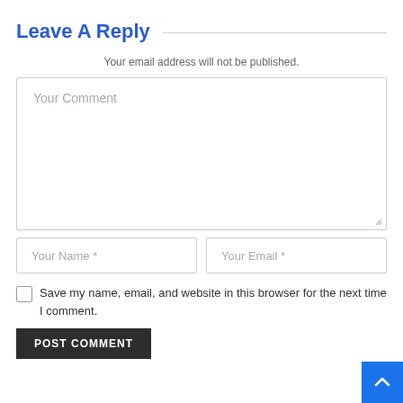Leave A Reply
Your email address will not be published.
Your Comment
Your Name *
Your Email *
Save my name, email, and website in this browser for the next time I comment.
POST COMMENT